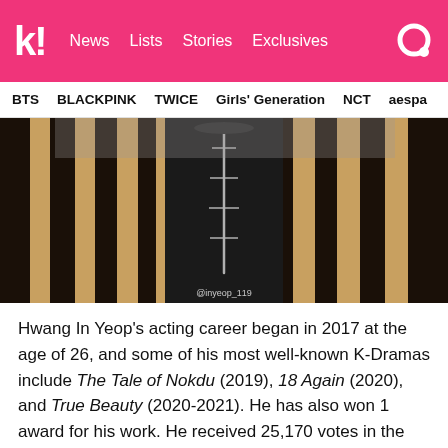k! News Lists Stories Exclusives
BTS  BLACKPINK  TWICE  Girls' Generation  NCT  aespa
[Figure (photo): Close-up photo of Hwang In Yeop wearing a black shirt with a silver chain necklace and a gold/black patterned jacket. Watermark reads @inyeop_119]
Hwang In Yeop's acting career began in 2017 at the age of 26, and some of his most well-known K-Dramas include The Tale of Nokdu (2019), 18 Again (2020), and True Beauty (2020-2021). He has also won 1 award for his work. He received 25,170 votes in the poll!